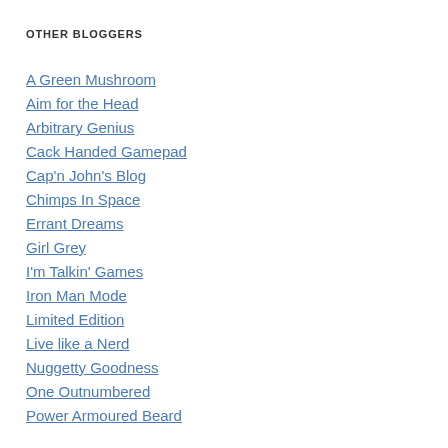OTHER BLOGGERS
A Green Mushroom
Aim for the Head
Arbitrary Genius
Cack Handed Gamepad
Cap'n John's Blog
Chimps In Space
Errant Dreams
Girl Grey
I'm Talkin' Games
Iron Man Mode
Limited Edition
Live like a Nerd
Nuggetty Goodness
One Outnumbered
Power Armoured Beard